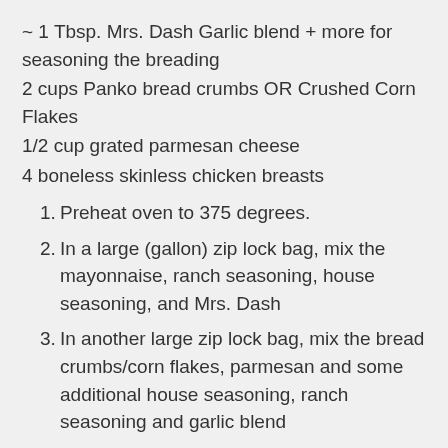~ 1 Tbsp. Mrs. Dash Garlic blend + more for seasoning the breading
2 cups Panko bread crumbs OR Crushed Corn Flakes
1/2 cup grated parmesan cheese
4 boneless skinless chicken breasts
1. Preheat oven to 375 degrees.
2. In a large (gallon) zip lock bag, mix the mayonnaise, ranch seasoning, house seasoning, and Mrs. Dash
3. In another large zip lock bag, mix the bread crumbs/corn flakes, parmesan and some additional house seasoning, ranch seasoning and garlic blend